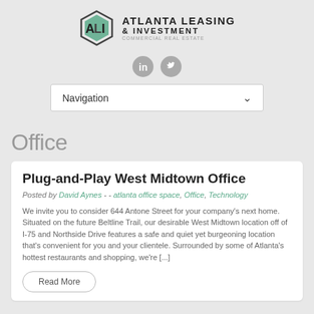[Figure (logo): Atlanta Leasing & Investment logo with hexagonal icon and company name]
[Figure (infographic): LinkedIn and Twitter social media icons (grey circles)]
Navigation
Office
Plug-and-Play West Midtown Office
Posted by David Aynes - - atlanta office space, Office, Technology
We invite you to consider 644 Antone Street for your company's next home. Situated on the future Beltline Trail, our desirable West Midtown location off of I-75 and Northside Drive features a safe and quiet yet burgeoning location that's convenient for you and your clientele. Surrounded by some of Atlanta's hottest restaurants and shopping, we're [...]
Read More